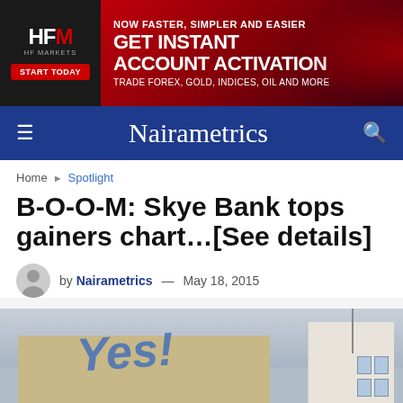[Figure (other): HFM HF Markets advertisement banner. Black left panel with HFM logo, HF MARKETS text, and START TODAY red button. Red right panel with text: NOW FASTER, SIMPLER AND EASIER / GET INSTANT ACCOUNT ACTIVATION / TRADE FOREX, GOLD, INDICES, OIL AND MORE]
Nairametrics
Home > Spotlight
B-O-O-M: Skye Bank tops gainers chart…[See details]
by Nairametrics — May 18, 2015
[Figure (photo): Photo of a building with a large YES! sign painted on the side, against a cloudy sky. A white multi-story building is visible on the right.]